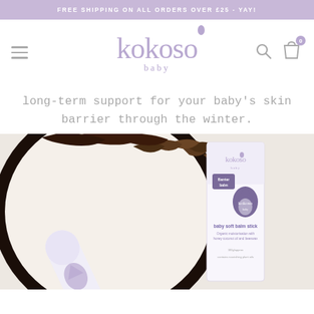FREE SHIPPING ON ALL ORDERS OVER £25 - YAY!
[Figure (logo): Kokoso Baby logo in lavender/purple with a water drop above the letter o, and 'baby' in smaller text below]
long-term support for your baby's skin barrier through the winter.
[Figure (photo): Product photo showing Kokoso Baby balm stick tube lying on a coconut half with dried coconut husk, alongside a standing Kokoso Baby barrier balm box packaging, all in light lavender branding]